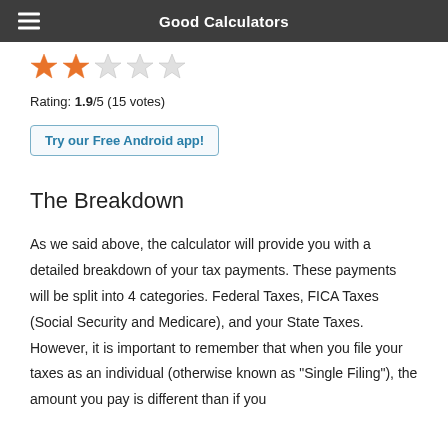Good Calculators
[Figure (illustration): Star rating display showing 2 filled orange stars and 3 empty/outline stars]
Rating: 1.9/5 (15 votes)
[Figure (other): Button: Try our Free Android app!]
The Breakdown
As we said above, the calculator will provide you with a detailed breakdown of your tax payments. These payments will be split into 4 categories. Federal Taxes, FICA Taxes (Social Security and Medicare), and your State Taxes. However, it is important to remember that when you file your taxes as an individual (otherwise known as "Single Filing"), the amount you pay is different than if you